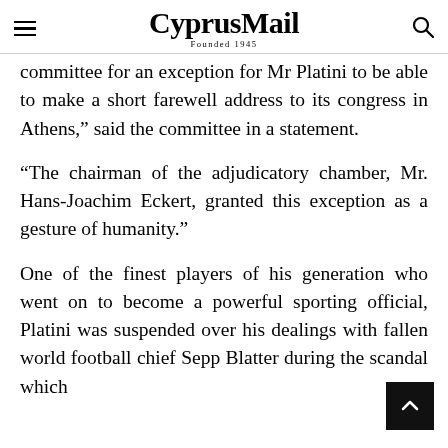CyprusMail — Founded 1945
committee for an exception for Mr Platini to be able to make a short farewell address to its congress in Athens,” said the committee in a statement.
“The chairman of the adjudicatory chamber, Mr. Hans-Joachim Eckert, granted this exception as a gesture of humanity.”
One of the finest players of his generation who went on to become a powerful sporting official, Platini was suspended over his dealings with fallen world football chief Sepp Blatter during the scandal which